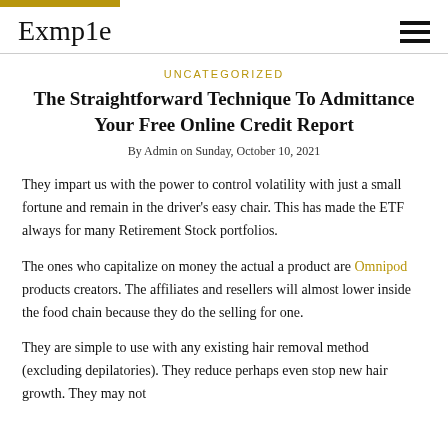Exmp1e
UNCATEGORIZED
The Straightforward Technique To Admittance Your Free Online Credit Report
By Admin on Sunday, October 10, 2021
They impart us with the power to control volatility with just a small fortune and remain in the driver's easy chair. This has made the ETF always for many Retirement Stock portfolios.
The ones who capitalize on money the actual a product are Omnipod products creators. The affiliates and resellers will almost lower inside the food chain because they do the selling for one.
They are simple to use with any existing hair removal method (excluding depilatories). They reduce perhaps even stop new hair growth. They may not